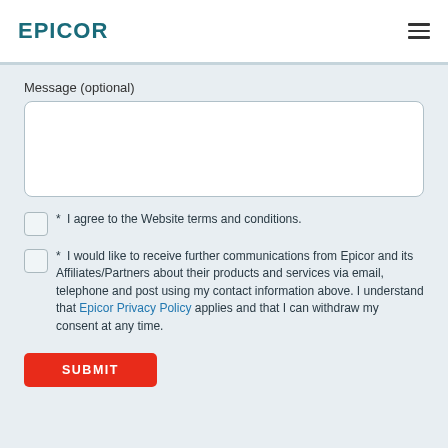EPICOR
Message (optional)
* I agree to the Website terms and conditions.
* I would like to receive further communications from Epicor and its Affiliates/Partners about their products and services via email, telephone and post using my contact information above. I understand that Epicor Privacy Policy applies and that I can withdraw my consent at any time.
SUBMIT